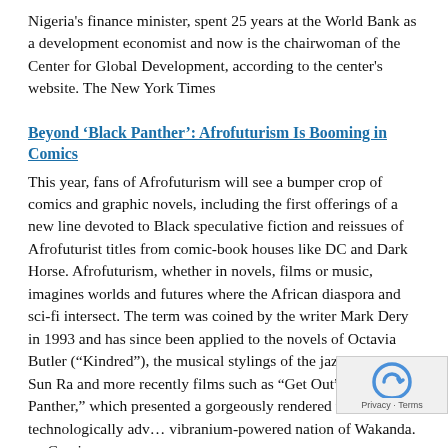Nigeria's finance minister, spent 25 years at the World Bank as a development economist and now is the chairwoman of the Center for Global Development, according to the center's website. The New York Times
Beyond 'Black Panther': Afrofuturism Is Booming in Comics
This year, fans of Afrofuturism will see a bumper crop of comics and graphic novels, including the first offerings of a new line devoted to Black speculative fiction and reissues of Afrofuturist titles from comic-book houses like DC and Dark Horse. Afrofuturism, whether in novels, films or music, imagines worlds and futures where the African diaspora and sci-fi intersect. The term was coined by the writer Mark Dery in 1993 and has since been applied to the novels of Octavia Butler (“Kindred”), the musical stylings of the jazz composer Sun Ra and more recently films such as “Get Out” and “Black Panther,” which presented a gorgeously rendered vision of the technologically adv… vibranium-powered nation of Wakanda. … Comics are…